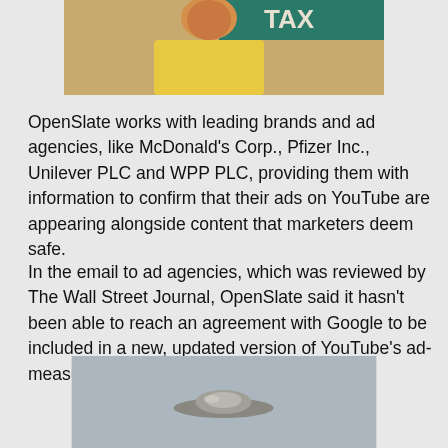[Figure (photo): Partial photo of a man in a yellow shirt with a teal/green sign behind him, cropped at top of page]
OpenSlate works with leading brands and ad agencies, like McDonald’s Corp., Pfizer Inc., Unilever PLC and WPP PLC, providing them with information to confirm that their ads on YouTube are appearing alongside content that marketers deem safe.
In the email to ad agencies, which was reviewed by The Wall Street Journal, OpenSlate said it hasn’t been able to reach an agreement with Google to be included in a new, updated version of YouTube’s ad-measurement program.
[Figure (photo): Partial photo of a UFO/flying saucer in a grey sky, cropped at bottom of page]